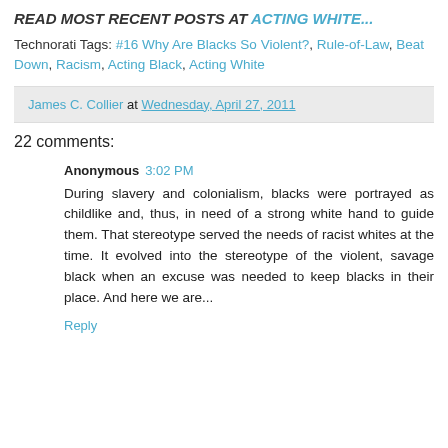READ MOST RECENT POSTS AT ACTING WHITE...
Technorati Tags: #16 Why Are Blacks So Violent?, Rule-of-Law, Beat Down, Racism, Acting Black, Acting White
James C. Collier at Wednesday, April 27, 2011
22 comments:
Anonymous 3:02 PM
During slavery and colonialism, blacks were portrayed as childlike and, thus, in need of a strong white hand to guide them. That stereotype served the needs of racist whites at the time. It evolved into the stereotype of the violent, savage black when an excuse was needed to keep blacks in their place. And here we are...
Reply